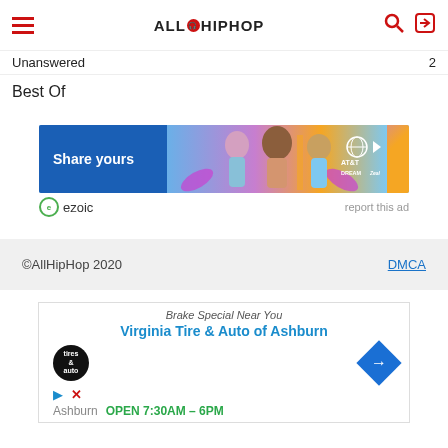ALLHIPHOP
Unanswered
Best Of
[Figure (infographic): AT&T advertisement banner with 'Share yours' text on blue background, three women in colorful style, AT&T DreamInBlack branding]
ezoic   report this ad
©AllHipHop 2020   DMCA
[Figure (infographic): Virginia Tire & Auto of Ashburn advertisement showing store name, tire logo, navigation diamond icon, play and X icons, Ashburn OPEN 7:30AM - 6PM]